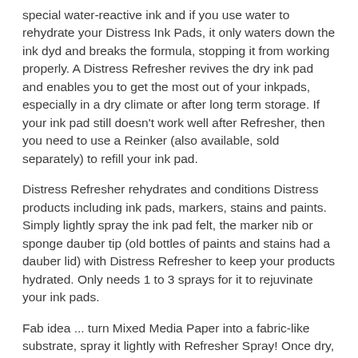special water-reactive ink and if you use water to rehydrate your Distress Ink Pads, it only waters down the ink dyd and breaks the formula, stopping it from working properly. A Distress Refresher revives the dry ink pad and enables you to get the most out of your inkpads, especially in a dry climate or after long term storage. If your ink pad still doesn't work well after Refresher, then you need to use a Reinker (also available, sold separately) to refill your ink pad.
Distress Refresher rehydrates and conditions Distress products including ink pads, markers, stains and paints. Simply lightly spray the ink pad felt, the marker nib or sponge dauber tip (old bottles of paints and stains had a dauber lid) with Distress Refresher to keep your products hydrated. Only needs 1 to 3 sprays for it to rejuvinate your ink pads.
Fab idea ... turn Mixed Media Paper into a fabric-like substrate, spray it lightly with Refresher Spray! Once dry, you'll have a flexible surface that can be altered, sewn, scrumpled and distressed. Its like magic!
Distress Refresher can also be used on stamps and inkpads to...